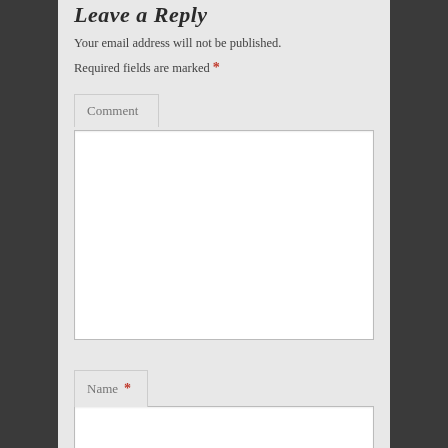Leave a Reply
Your email address will not be published.
Required fields are marked *
[Figure (screenshot): Comment textarea field with 'Comment' label tab on top left, white input area below]
[Figure (screenshot): Name input field with 'Name *' label tab on top left, white input area to the right]